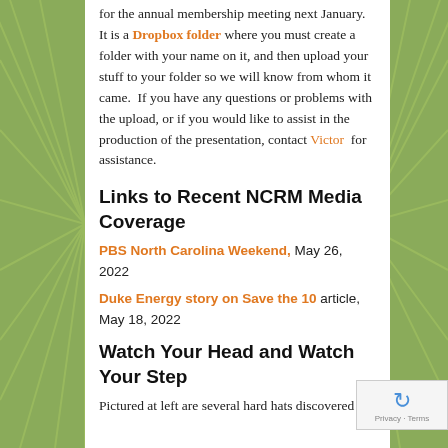for the annual membership meeting next January. It is a Dropbox folder where you must create a folder with your name on it, and then upload your stuff to your folder so we will know from whom it came. If you have any questions or problems with the upload, or if you would like to assist in the production of the presentation, contact Victor for assistance.
Links to Recent NCRM Media Coverage
PBS North Carolina Weekend, May 26, 2022
Duke Energy story on Save the 10 article, May 18, 2022
Watch Your Head and Watch Your Step
Pictured at left are several hard hats discovered in,